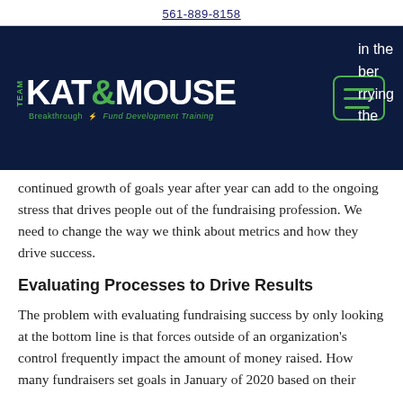561-889-8158
[Figure (logo): Team Kat & Mouse logo with tagline 'Breakthrough Fund Development Training' on dark navy background with hamburger menu icon and partial text 'in the ber rrying the']
continued growth of goals year after year can add to the ongoing stress that drives people out of the fundraising profession. We need to change the way we think about metrics and how they drive success.
Evaluating Processes to Drive Results
The problem with evaluating fundraising success by only looking at the bottom line is that forces outside of an organization's control frequently impact the amount of money raised. How many fundraisers set goals in January of 2020 based on their